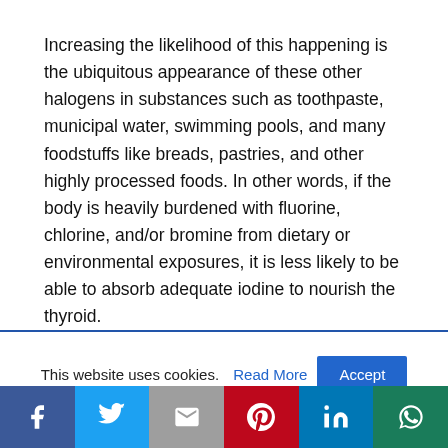Increasing the likelihood of this happening is the ubiquitous appearance of these other halogens in substances such as toothpaste, municipal water, swimming pools, and many foodstuffs like breads, pastries, and other highly processed foods. In other words, if the body is heavily burdened with fluorine, chlorine, and/or bromine from dietary or environmental exposures, it is less likely to be able to absorb adequate iodine to nourish the thyroid.
This website uses cookies. Read More Accept
Facebook Twitter Gmail Pinterest LinkedIn WhatsApp share buttons